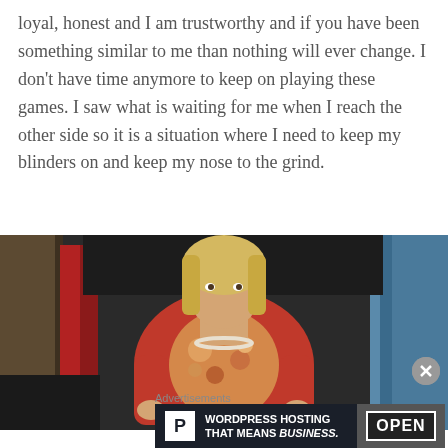loyal, honest and I am trustworthy and if you have been something similar to me than nothing will ever change. I don't have time anymore to keep on playing these games. I saw what is waiting for me when I reach the other side so it is a situation where I need to keep my blinders on and keep my nose to the grind.
[Figure (photo): A blonde woman wearing a red cardigan over a floral top and pearl necklace, standing indoors with dark background and blue curtain visible.]
Advertisements
[Figure (screenshot): Advertisement banner for WordPress Hosting with a 'P' logo and text 'WORDPRESS HOSTING THAT MEANS BUSINESS.' alongside an image of an OPEN sign.]